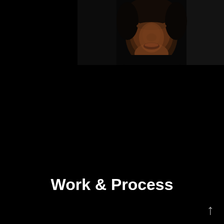[Figure (photo): An upside-down photograph of a person's face (appears to be a young Black woman) taken in low-light/dark studio conditions. The face is illuminated against a very dark background. The image is oriented so the face appears upside-down.]
Work & Process